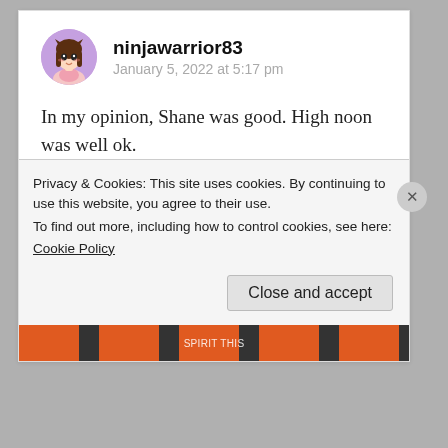[Figure (illustration): Avatar of user ninjawarrior83 — anime-style girl with long brown hair on a purple/lavender circle background]
ninjawarrior83
January 5, 2022 at 5:17 pm
In my opinion, Shane was good. High noon was well ok.

Happy Christmas and New year (bealeted)
★ Liked by 1 person
Privacy & Cookies: This site uses cookies. By continuing to use this website, you agree to their use.
To find out more, including how to control cookies, see here:
Cookie Policy
Close and accept